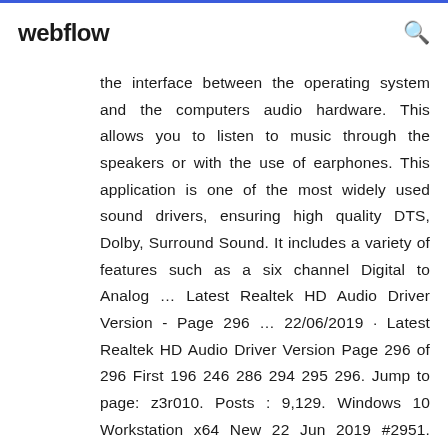webflow
the interface between the operating system and the computers audio hardware. This allows you to listen to music through the speakers or with the use of earphones. This application is one of the most widely used sound drivers, ensuring high quality DTS, Dolby, Surround Sound. It includes a variety of features such as a six channel Digital to Analog … Latest Realtek HD Audio Driver Version - Page 296 … 22/06/2019 · Latest Realtek HD Audio Driver Version Page 296 of 296 First 196 246 286 294 295 296. Jump to page: z3r010. Posts : 9,129. Windows 10 Workstation x64 New 22 Jun 2019 #2951. Note. Thread continued here - Latest Realtek HD Audio Driver Version [2] My